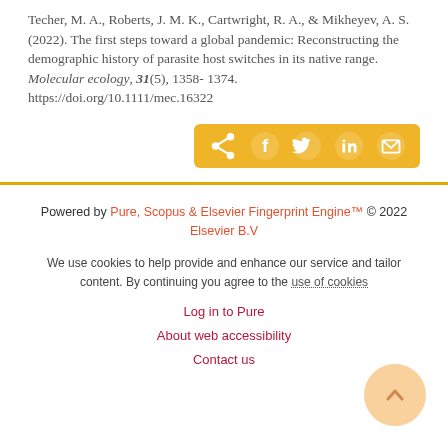Techer, M. A., Roberts, J. M. K., Cartwright, R. A., & Mikheyev, A. S. (2022). The first steps toward a global pandemic: Reconstructing the demographic history of parasite host switches in its native range. Molecular ecology, 31(5), 1358-1374. https://doi.org/10.1111/mec.16322
[Figure (other): Social share bar with icons for share, Facebook, Twitter, LinkedIn, and email on a gold/yellow background]
Powered by Pure, Scopus & Elsevier Fingerprint Engine™ © 2022 Elsevier B.V
We use cookies to help provide and enhance our service and tailor content. By continuing you agree to the use of cookies
Log in to Pure
About web accessibility
Contact us